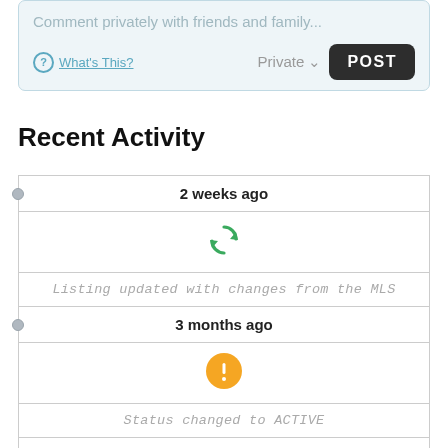[Figure (screenshot): Comment input box with placeholder 'Comment privately with friends and family...' and footer with 'What's This?' link, 'Private' dropdown, and 'POST' button]
Recent Activity
2 weeks ago
[Figure (infographic): Green refresh/sync circular arrow icon]
Listing updated with changes from the MLS
3 months ago
[Figure (infographic): Orange circle with white exclamation mark icon]
Status changed to ACTIVE
3 months ago
[Figure (infographic): Orange circle with white exclamation mark icon]
Price changed to $4,500,000